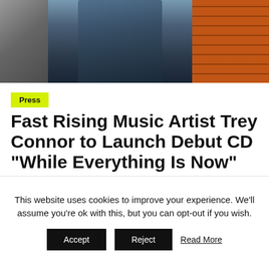[Figure (photo): A man in a blue blazer and dark shirt standing near brick wall and stairs]
Press
Fast Rising Music Artist Trey Connor to Launch Debut CD “While Everything Is Now”
September 17, 2016  staff
This website uses cookies to improve your experience. We’ll assume you’re ok with this, but you can opt-out if you wish.
Accept  Reject  Read More